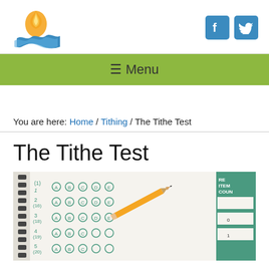Logo and social media icons (Facebook, Twitter)
≡ Menu
You are here: Home / Tithing / The Tithe Test
The Tithe Test
[Figure (photo): Close-up photo of a multiple choice exam answer sheet with bubbles labeled A B C D E and a pencil pointing at one of the answers. Green text on white paper. A score card with RE, ITEM, COUN headers is visible on the right edge.]